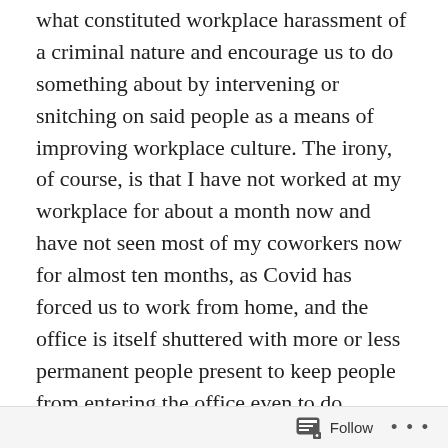what constituted workplace harassment of a criminal nature and encourage us to do something about by intervening or snitching on said people as a means of improving workplace culture. The irony, of course, is that I have not worked at my workplace for about a month now and have not seen most of my coworkers now for almost ten months, as Covid has forced us to work from home, and the office is itself shuttered with more or less permanent people present to keep people from entering the office even to do mundane things like deal with the mail.
There are many layers of irony in a situation like this. For one, there is the irony of having a required course on workplace harassment at a time when everyone (or at least almost everyone) is working from home. For another
Follow ···